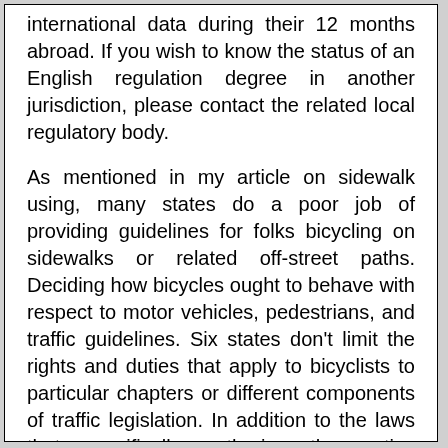international data during their 12 months abroad. If you wish to know the status of an English regulation degree in another jurisdiction, please contact the related local regulatory body.
As mentioned in my article on sidewalk using, many states do a poor job of providing guidelines for folks bicycling on sidewalks or related off-street paths. Deciding how bicycles ought to behave with respect to motor vehicles, pedestrians, and traffic guidelines. Six states don't limit the rights and duties that apply to bicyclists to particular chapters or different components of traffic legislation. In addition to the laws that specifically authorize the native regulation of bicycles, there are a minimum of three concepts you ought to be familiar with earlier than looking at your stateâs law associated to native laws affecting bicycling. The first is home rule, the